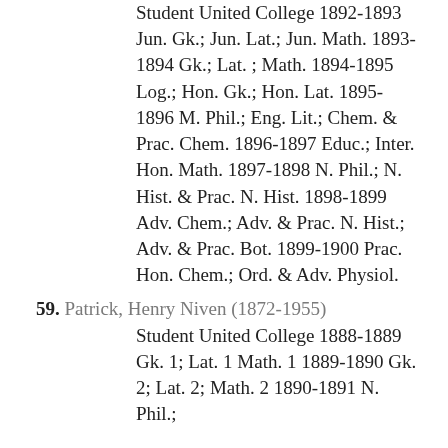Student United College 1892 1893 Jun. Gk.; Jun. Lat.; Jun. Math. 1893-1894 Gk.; Lat. ; Math. 1894-1895 Log.; Hon. Gk.; Hon. Lat. 1895-1896 M. Phil.; Eng. Lit.; Chem. & Prac. Chem. 1896-1897 Educ.; Inter. Hon. Math. 1897-1898 N. Phil.; N. Hist. & Prac. N. Hist. 1898-1899 Adv. Chem.; Adv. & Prac. N. Hist.; Adv. & Prac. Bot. 1899-1900 Prac. Hon. Chem.; Ord. & Adv. Physiol.
59. Patrick, Henry Niven (1872-1955)
Student United College 1888-1889 Gk. 1; Lat. 1 Math. 1 1889-1890 Gk. 2; Lat. 2; Math. 2 1890-1891 N. Phil.;